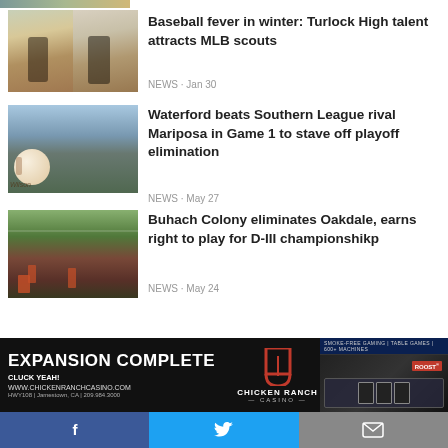[Figure (photo): Partial top image, cropped baseball/sports photo]
Baseball fever in winter: Turlock High talent attracts MLB scouts
NEWS · Jan 30
[Figure (photo): Baseball player batting, outdoor field]
Waterford beats Southern League rival Mariposa in Game 1 to stave off playoff elimination
NEWS · May 27
[Figure (photo): Baseball close-up with field and sky in background]
Buhach Colony eliminates Oakdale, earns right to play for D-III championshikp
NEWS · May 24
[Figure (photo): Chicken Ranch Casino advertisement banner: EXPANSION COMPLETE CLUCK YEAH! www.chickenranchcasino.com HWY108 | Jamestown, CA | 209.984.3000]
[Figure (other): Social media share bar with Facebook, Twitter, and Email icons]